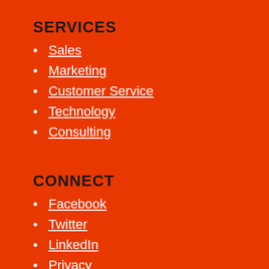SERVICES
Sales
Marketing
Customer Service
Technology
Consulting
CONNECT
Facebook
Twitter
LinkedIn
Privacy
Contact Us